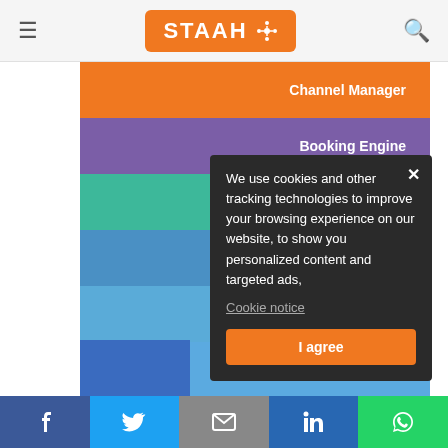STAAH — Channel Manager, Booking Engine, Instantsite Website, Gift Voucher Engine, Review Minder
Channel Manager
Booking Engine
Instantsite Website
Gift Voucher Engine
Review Minter
We use cookies and other tracking technologies to improve your browsing experience on our website, to show you personalized content and targeted ads,
Cookie notice
I agree